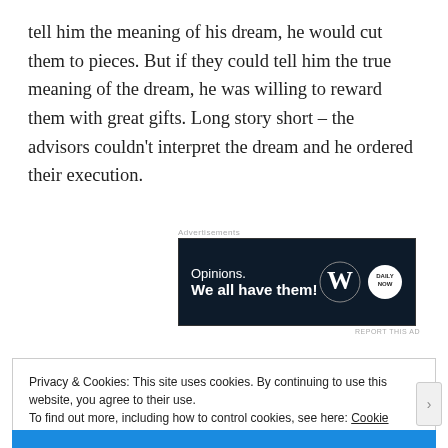tell him the meaning of his dream, he would cut them to pieces. But if they could tell him the true meaning of the dream, he was willing to reward them with great gifts. Long story short – the advisors couldn't interpret the dream and he ordered their execution.
[Figure (other): Advertisement banner with dark navy background. Text reads 'Opinions. We all have them!' with WordPress logo and a circular news logo on the right.]
Privacy & Cookies: This site uses cookies. By continuing to use this website, you agree to their use.
To find out more, including how to control cookies, see here: Cookie Policy
Close and accept